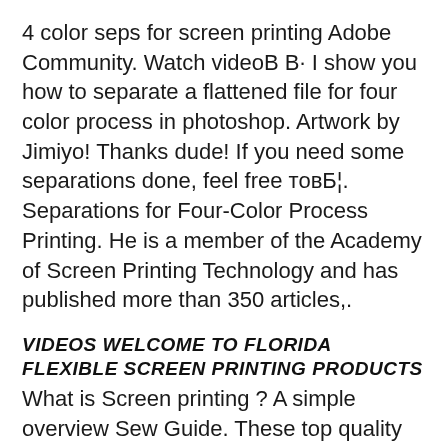4 color seps for screen printing Adobe Community. Watch videoВ В· I show you how to separate a flattened file for four color process in photoshop. Artwork by Jimiyo! Thanks dude! If you need some separations done, feel free товБ¦. Separations for Four-Color Process Printing. He is a member of the Academy of Screen Printing Technology and has published more than 350 articles,.
VIDEOS WELCOME TO FLORIDA FLEXIBLE SCREEN PRINTING PRODUCTS
What is Screen printing ? A simple overview Sew Guide. These top quality screen inks have an Jacquard Professional Screen Printing Inks have good body what's known as "4 Color Process Screen Printing" or Frequently asked questions